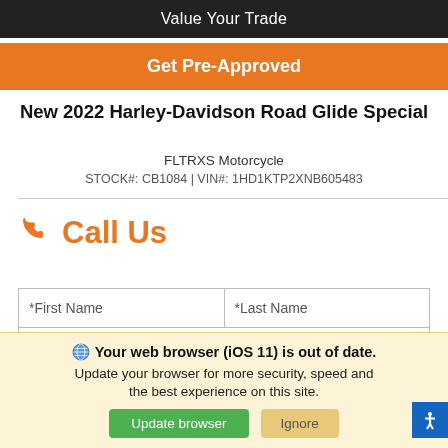Value Your Trade
Get Pre-Approved
New 2022 Harley-Davidson Road Glide Special
FLTRXS Motorcycle
STOCK#: CB1084 | VIN#: 1HD1KTP2XNB605483
☎ Call Us
*First Name  *Last Name
*Email
Your web browser (iOS 11) is out of date. Update your browser for more security, speed and the best experience on this site.
Update browser  Ignore